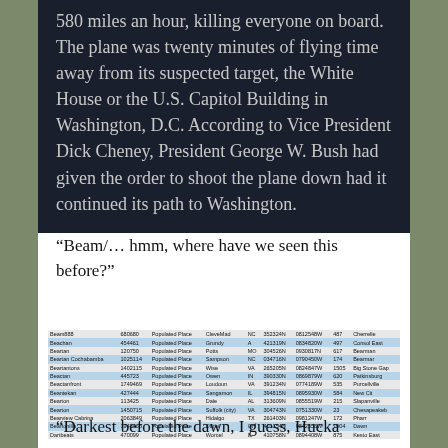580 miles an hour, killing everyone on board. The plane was twenty minutes of flying time away from its suspected target, the White House or the U.S. Capitol Building in Washington, D.C. According to Vice President Dick Cheney, President George W. Bush had given the order to shoot the plane down had it continued its path to Washington.
“Beam/… hmm, where have we seen this before?”
| Beam888 | 680680 | Populated Place | CleveMad | NC | 352324N | 0812548W | 487 | Cherrelle |
| --- | --- | --- | --- | --- | --- | --- | --- | --- |
| Beachan | 454461 | Populated Place | Grundy | A | 421319N | 0834820W | 497 | Consol East |
| Beartan | 120750 | Populated Place | Potts | MO | 304526N | 0930817N | 617 | Bearman |
| Beartan Cochabamba | 1025114 | Populated Place | Sampson | NC | 034716N | 0790450W | 174 | Bearmar |
| Beartantons | 1402115 | Populated Place | Wise | VA | 265205N | 0824847W | 1505 | Big Stone Gap |
| Beactan | 445723 | Populated Place | Owen | IN | 390330N | 0869879W | 620 | Patkinsburg |
| Beactanfront | 1749469 | Populated Place | Loudoun | VA | 391234N | 0774189W | 535 | Purcellville |
| Beantekan | 427444 | Populated Place | Sangamon | IL | 394815N | 0895930W | 584 | New Cit |
| Bearton | 113425 | Populated Place | Dale | AL | 313609N | 0855519W | 215 | Slapanville |
| Bearton | 1450715 | Populated Place | Suffolk (city) | VA | 304743N | 0751330W | 23 | Chesapeakeb |
| Bearview Cabrina | 2063849 | Populated Place | Hidalgo | TX | 261403N | 0981247W | 172 | Pharr |
| Beartonilla | 1948468 | Populated Place | Darke | OH | 401154N | 0842558W | 1904 | Dawn |
| Dartbeats | 470099 | Populated Place | Worcel | IL | 410758N | 0894408W | 875 | Kesto East |
“Darkest before the dawn, I guess, Hucka